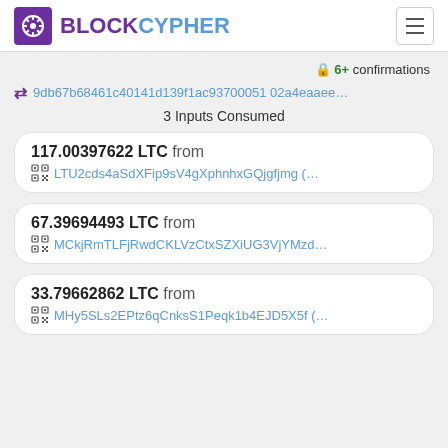BLOCKCYPHER
🔒 6+ confirmations
⇄ 9db67b68461c40141d139f1ac93700051 02a4eaaee...
3 Inputs Consumed
117.00397622 LTC from LTU2cds4aSdXFip9sV4gXphnhxGQjgfjmg (...
67.39694493 LTC from MCkjRmTLFjRwdCKLVzCtxSZXiUG3VjYMzd...
33.79662862 LTC from MHy5SLs2EPtz6qCnksS1Peqk1b4EJD5X5f (...